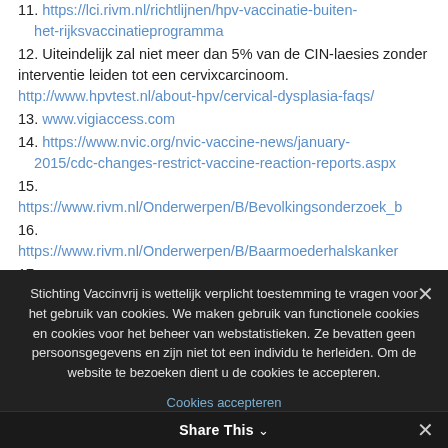11. https://lci.rivm.nl/richtlijnen/hpv-vaccinatie-buiten-het-rijksvaccinatieprogramma
12. Uiteindelijk zal niet meer dan 5% van de CIN-laesies zonder interventie leiden tot een cervixcarcinoom. http://www.hpvtest.nl/about-hpv/cervical-dysplasia-faqs/
13. www.vigiaccess.com
14. https://www.nvic.org/nvic-vaccine-news/january-2015/cdc-changes-restrict-vaccine-reaction-reports.aspx
15. https://www.rivm.nl/Onderwerpen/B/Bevolkingsonderzoek_b
16. https://www.rivm.nl/Onderwerpen/B/Baarmoederhalskanker
17.
Stichting Vaccinvrij is wettelijk verplicht toestemming te vragen voor het gebruik van cookies. We maken gebruik van functionele cookies en cookies voor het beheer van webstatistieken. Ze bevatten geen persoonsgegevens en zijn niet tot een individu te herleiden. Om de website te bezoeken dient u de cookies te accepteren.
Cookies accepteren
Share This